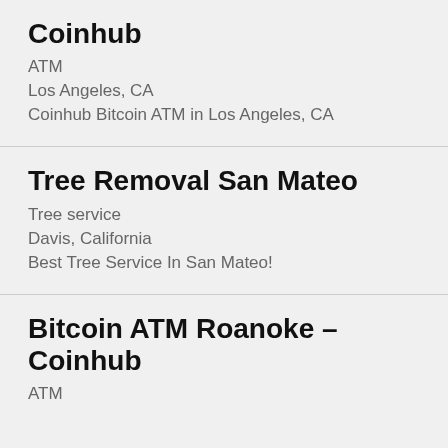Coinhub
ATM
Los Angeles, CA
Coinhub Bitcoin ATM in Los Angeles, CA
Tree Removal San Mateo
Tree service
Davis, California
Best Tree Service In San Mateo!
Bitcoin ATM Roanoke – Coinhub
ATM